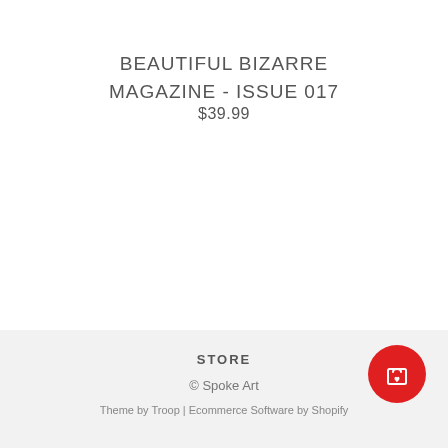BEAUTIFUL BIZARRE MAGAZINE - ISSUE 017
$39.99
STORE
© Spoke Art
Theme by Troop | Ecommerce Software by Shopify